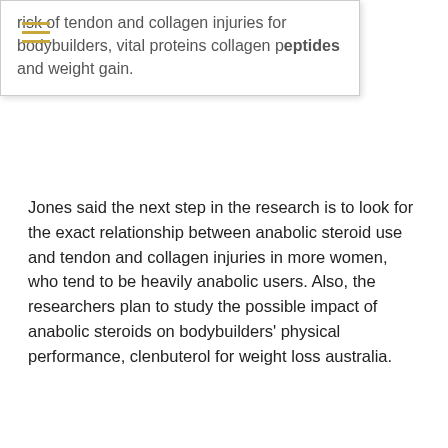risk of tendon and collagen injuries for bodybuilders, vital proteins collagen peptides and weight gain.
Jones said the next step in the research is to look for the exact relationship between anabolic steroid use and tendon and collagen injuries in more women, who tend to be heavily anabolic users. Also, the researchers plan to study the possible impact of anabolic steroids on bodybuilders' physical performance, clenbuterol for weight loss australia.
The men were randomised to Weight Watchers weight loss programme plus placebo versus the same weight loss programme plus testosteronetherapy to increase testosterone levels (Nilsson et al